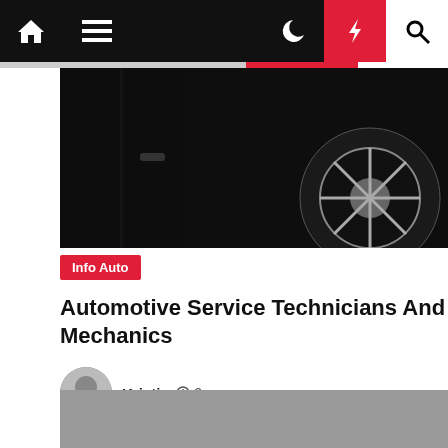Navigation bar with home, menu, moon, bolt, and search icons
[Figure (photo): Dark photograph of a black car interior/exterior showing wheel and door, cropped header image]
Info Auto
Automotive Service Technicians And Mechanics
Kristin  2 years ago
[Figure (photo): Gray placeholder image at bottom of page]